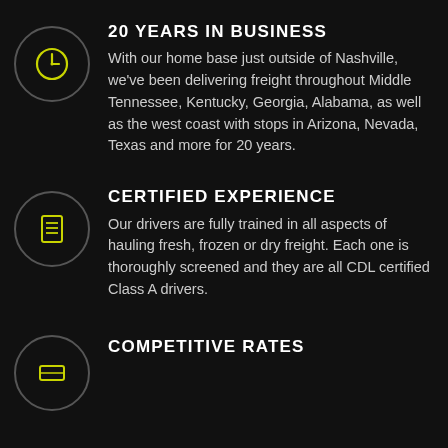[Figure (infographic): Yellow clock icon inside a dark circle with grey border]
20 YEARS IN BUSINESS
With our home base just outside of Nashville, we've been delivering freight throughout Middle Tennessee, Kentucky, Georgia, Alabama, as well as the west coast with stops in Arizona, Nevada, Texas and more for 20 years.
[Figure (infographic): Yellow document/list icon inside a dark circle with grey border]
CERTIFIED EXPERIENCE
Our drivers are fully trained in all aspects of hauling fresh, frozen or dry freight. Each one is thoroughly screened and they are all CDL certified Class A drivers.
[Figure (infographic): Yellow icon (partially visible) inside a dark circle with grey border]
COMPETITIVE RATES